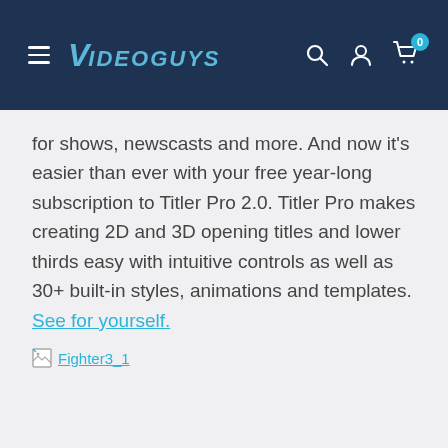Videoguys — navigation header with search, account, and cart icons
for shows, newscasts and more. And now it's easier than ever with your free year-long subscription to Titler Pro 2.0. Titler Pro makes creating 2D and 3D opening titles and lower thirds easy with intuitive controls as well as 30+ built-in styles, animations and templates. See for yourself.
[Figure (other): Broken image placeholder labeled Fighter3_1]